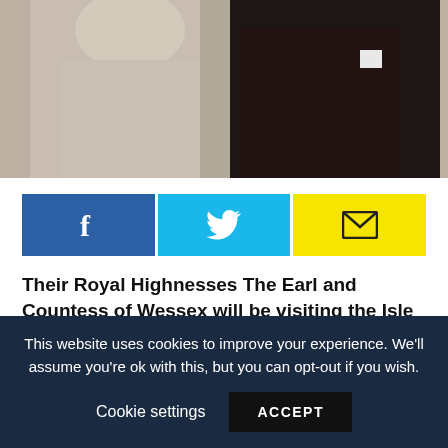[Figure (photo): Cropped photo of two people - person on left in light/cream colored jacket, person on right in dark suit with white pocket square]
[Figure (infographic): Three social sharing buttons: Facebook (blue), Twitter (cyan), Email (yellow)]
Their Royal Highnesses The Earl and Countess of Wessex will be visiting the Isle of Wight tomorrow (Tuesday 24 May).
They will carry out a number of engagements including visiting Pan in Newport to see the work done by the
This website uses cookies to improve your experience. We'll assume you're ok with this, but you can opt-out if you wish.
Cookie settings   ACCEPT